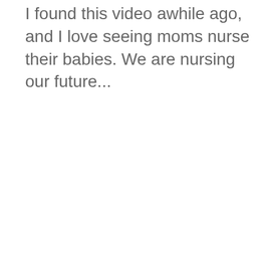I found this video awhile ago, and I love seeing moms nurse their babies. We are nursing our future...